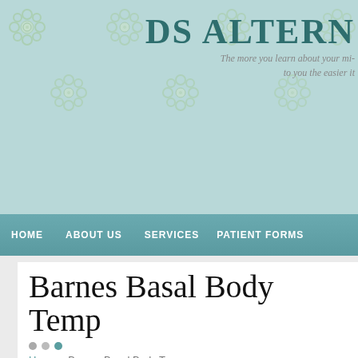DS ALTERN
The more you learn about your mi- to you the easier it
HOME   ABOUT US   SERVICES   PATIENT FORMS
Barnes Basal Body Temp
Home » Barnes Basal Body Temp
The Barnes Basal Body Temperature Test:
Take your basal underarm temperature. The Basal Temperature is y in the morning. Most basal thermometers come with a temperature- (obtained at the drugstore) shows the tiny incremental degree chan not.